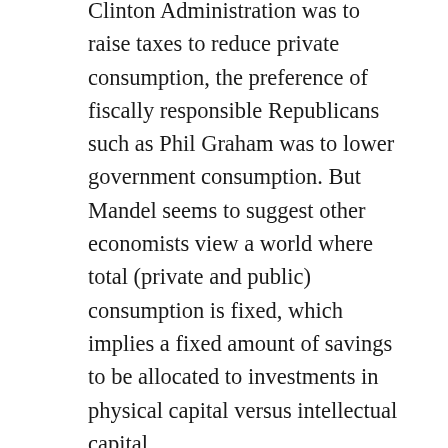Clinton Administration was to raise taxes to reduce private consumption, the preference of fiscally responsible Republicans such as Phil Graham was to lower government consumption. But Mandel seems to suggest other economists view a world where total (private and public) consumption is fixed, which implies a fixed amount of savings to be allocated to investments in physical capital versus intellectual capital.
Economists are guilty, however, of wanting to weigh the prospective benefits of R&D against their costs. Free market economists might argue that the private sector properly weighs these two, but we should note that the social benefits of R&D often exceed private benefits. For this reason, a good case